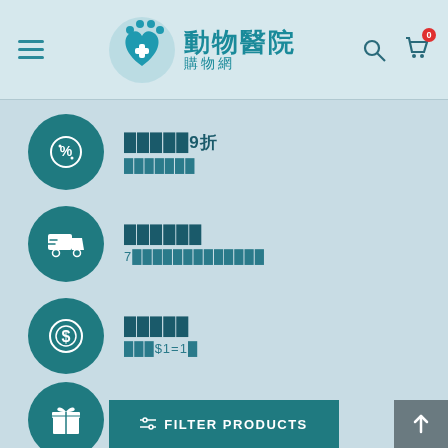動物醫院購物網 header with logo, menu, search and cart icons
會員購物9折 / 購物折扣優惠
免費送貨服務 / 7天購物滿額免費送
積分回贈 / 消費$1=1點
生日禮物優惠 / 生日驚喜好禮